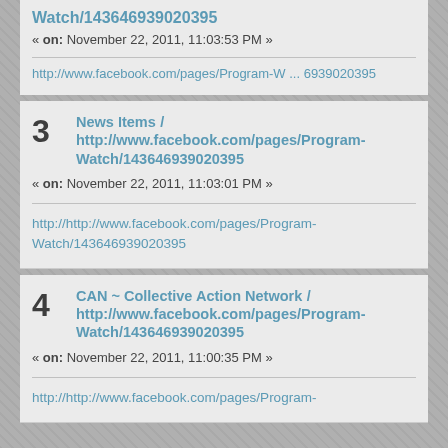Watch/143646939020395
« on: November 22, 2011, 11:03:53 PM »
http://www.facebook.com/pages/Program-W ... 6939020395
3  News Items / http://www.facebook.com/pages/Program-Watch/143646939020395
« on: November 22, 2011, 11:03:01 PM »
http://http://www.facebook.com/pages/Program-Watch/143646939020395
4  CAN ~ Collective Action Network / http://www.facebook.com/pages/Program-Watch/143646939020395
« on: November 22, 2011, 11:00:35 PM »
http://http://www.facebook.com/pages/Program-